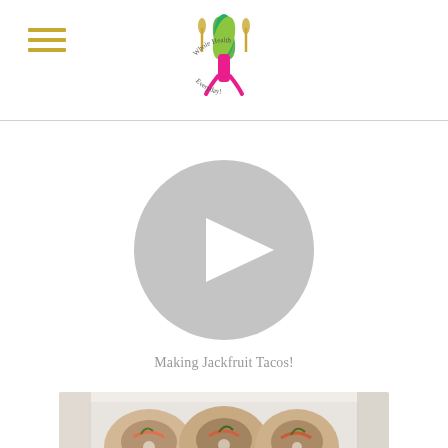Whole Health Everyday - navigation header with hamburger menu and logo
[Figure (other): Hamburger menu icon with three horizontal golden/yellow lines]
[Figure (logo): Whole Health Everyday logo - stylized plant/vegetable graphic with text arc reading 'Whole Health Everyday']
[Figure (other): Video player placeholder with large grey circle and white play triangle arrow in center]
Making Jackfruit Tacos!
[Figure (photo): Food photo showing jackfruit tacos arranged on a white plate/tray, viewed from above]